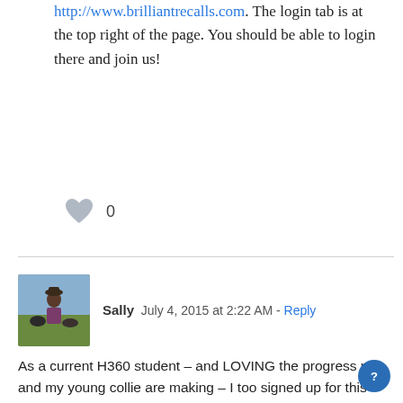http://www.brilliantrecalls.com. The login tab is at the top right of the page. You should be able to login there and join us!
[Figure (illustration): Gray heart icon with like count 0]
Sally  July 4, 2015 at 2:22 AM - Reply
[Figure (photo): Avatar photo of Sally, a person with two collie dogs in a field]
As a current H360 student – and LOVING the progress me and my young collie are making – I too signed up for this Recallers Guest Pass... Hoping now to make the same sort of progress with a certain wayward terrier in our household.

Thank you Susan, for all these amazing